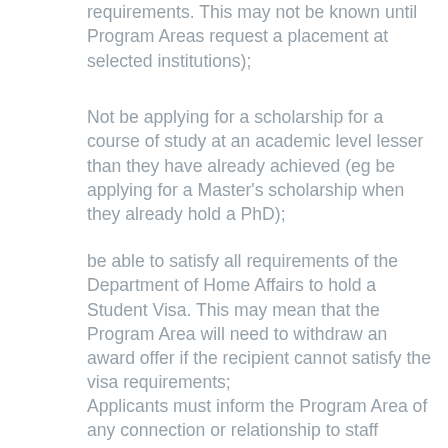requirements. This may not be known until Program Areas request a placement at selected institutions);
Not be applying for a scholarship for a course of study at an academic level lesser than they have already achieved (eg be applying for a Master's scholarship when they already hold a PhD);
be able to satisfy all requirements of the Department of Home Affairs to hold a Student Visa. This may mean that the Program Area will need to withdraw an award offer if the recipient cannot satisfy the visa requirements;
Applicants must inform the Program Area of any connection or relationship to staff employed at Program Areas (including locally engaged staff at the post) or with